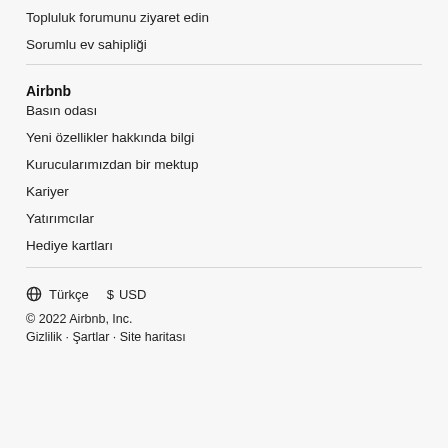Topluluk forumunu ziyaret edin
Sorumlu ev sahipliği
Airbnb
Basın odası
Yeni özellikler hakkında bilgi
Kurucularımızdan bir mektup
Kariyer
Yatırımcılar
Hediye kartları
⊕ Türkçe   $  USD
© 2022 Airbnb, Inc.
Gizlilik · Şartlar · Site haritası